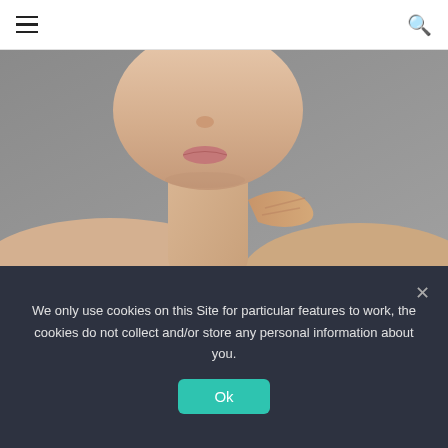≡ [hamburger menu]  [search icon]
[Figure (photo): Close-up beauty photo of a woman's lower face and neck against a grey background, hand touching neck]
Switch up a basic eyeliner look by using your liquid liner in a more decorative way, as seen at Rochas Spring Ready-To-Wear 2019. Drawing tiny, open-ended triangles at the outer corners of the eyelids can really help to open eyes up.
We only use cookies on this Site for particular features to work, the cookies do not collect and/or store any personal information about you.